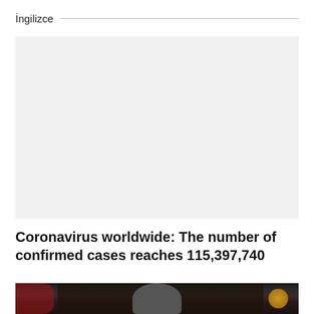İngilizce
[Figure (photo): Blank/empty light gray placeholder image area]
Coronavirus worldwide: The number of confirmed cases reaches 115,397,740
[Figure (photo): Partial photo of a person (appears to be a leader/official) against a dark background with red flags visible on the left and a gold/yellow circular emblem on the right]